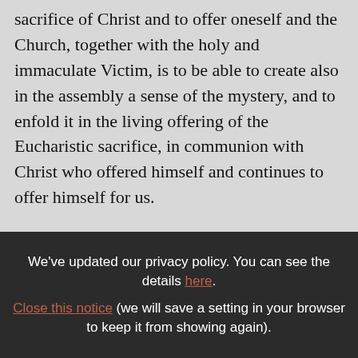sacrifice of Christ and to offer oneself and the Church, together with the holy and immaculate Victim, is to be able to create also in the assembly a sense of the mystery, and to enfold it in the living offering of the Eucharistic sacrifice, in communion with Christ who offered himself and continues to offer himself for us.
Q: Controversies aside, the critics share the view that no other film has ever represented in
We've updated our privacy policy. You can see the details here. Close this notice (we will save a setting in your browser to keep it from showing again).